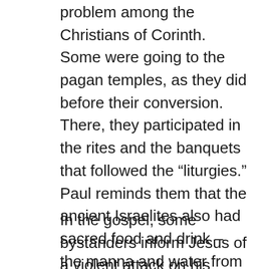problem among the Christians of Corinth. Some were going to the pagan temples, as they did before their conversion. There, they participated in the rites and the banquets that followed the “liturgies.” Paul reminds them that the ancient Israelites also had sacred food and drink – the manna and water from the rock. Privileged as they were, God did not spare them when they lapsed into idolatry. “God was not pleased with them and struck them down.” What happened to the idolatrous Israelites could also happen to idolatrous Corinthians.
In the gospel, some bystanders inform Jesus of a violent attack on his fellow Galileans by Pontius Pilate, the Roman prefect of Judea. Pilate